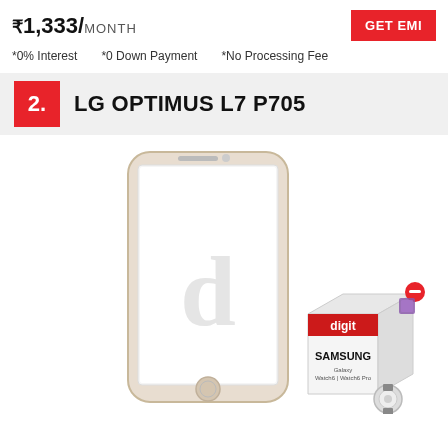₹1,333/MONTH
GET EMI
*0% Interest   *0 Down Payment   *No Processing Fee
2. LG OPTIMUS L7 P705
[Figure (photo): LG Optimus L7 P705 smartphone shown as a gold/white iPhone-style device with a 'd' logo watermark on screen, alongside a Samsung Galaxy Watch product box with accessories.]